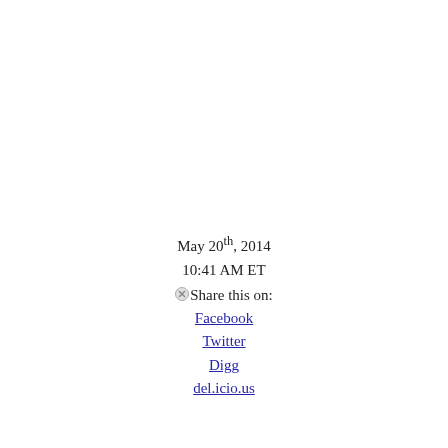May 20th, 2014
10:41 AM ET
Share this on:
Facebook
Twitter
Digg
del.icio.us